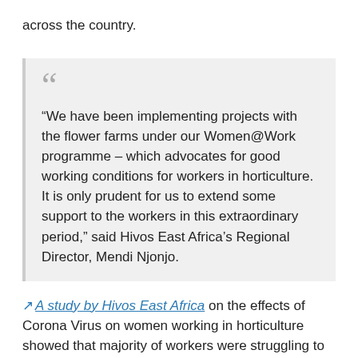across the country.
“We have been implementing projects with the flower farms under our Women@Work programme – which advocates for good working conditions for workers in horticulture. It is only prudent for us to extend some support to the workers in this extraordinary period,” said Hivos East Africa’s Regional Director, Mendi Njonjo.
↗ A study by Hivos East Africa on the effects of Corona Virus on women working in horticulture showed that majority of workers were struggling to buy food and worried about loss of income. Even as COVID-19 effects continue, Hivos underlines the importance of human rights, such as protection of the vulnerable and respect of human dignity to not only curtail the spread of the virus, but also cushion and safeguard women workers who stand to be the most affected.